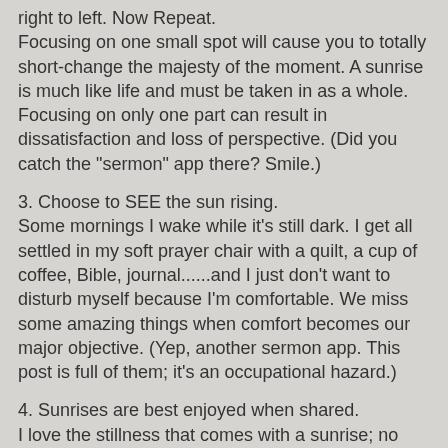right to left. Now Repeat. Focusing on one small spot will cause you to totally short-change the majesty of the moment. A sunrise is much like life and must be taken in as a whole. Focusing on only one part can result in dissatisfaction and loss of perspective. (Did you catch the "sermon" app there? Smile.)
3. Choose to SEE the sun rising.
Some mornings I wake while it's still dark. I get all settled in my soft prayer chair with a quilt, a cup of coffee, Bible, journal......and I just don't want to disturb myself because I'm comfortable. We miss some amazing things when comfort becomes our major objective. (Yep, another sermon app. This post is full of them; it's an occupational hazard.)
4. Sunrises are best enjoyed when shared.
I love the stillness that comes with a sunrise; no words are required or sufficient really. I can enjoy the richness all by myself. But when Frank comes out and quietly takes my hand or just sits nearby, a connection takes place that can't be easily explained. We are not meant to experience life alone. Invest in friendship.